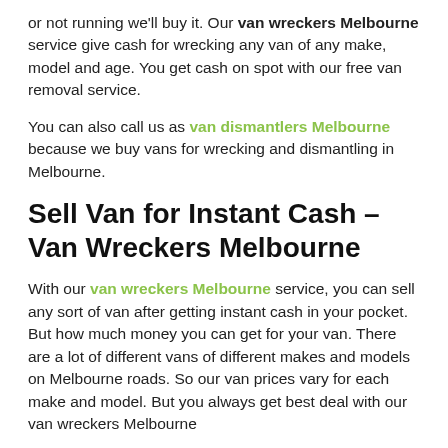or not running we'll buy it. Our van wreckers Melbourne service give cash for wrecking any van of any make, model and age. You get cash on spot with our free van removal service.
You can also call us as van dismantlers Melbourne because we buy vans for wrecking and dismantling in Melbourne.
Sell Van for Instant Cash – Van Wreckers Melbourne
With our van wreckers Melbourne service, you can sell any sort of van after getting instant cash in your pocket. But how much money you can get for your van. There are a lot of different vans of different makes and models on Melbourne roads. So our van prices vary for each make and model. But you always get best deal with our van wreckers Melbourne